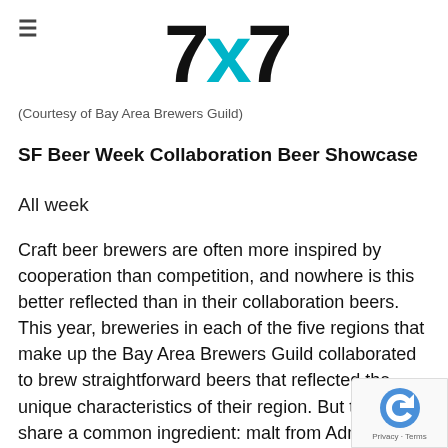[Figure (logo): 7x7 logo with bold black '7' characters and teal 'x' in the middle]
(Courtesy of Bay Area Brewers Guild)
SF Beer Week Collaboration Beer Showcase
All week
Craft beer brewers are often more inspired by cooperation than competition, and nowhere is this better reflected than in their collaboration beers. This year, breweries in each of the five regions that make up the Bay Area Brewers Guild collaborated to brew straightforward beers that reflected the unique characteristics of their region. But they all share a common ingredient: malt from Admiral Maltings. These collaboration beers include Rice Stratas a rice IPA from the East Bay brewers; Common Dreams, a California Common from SF brewers,